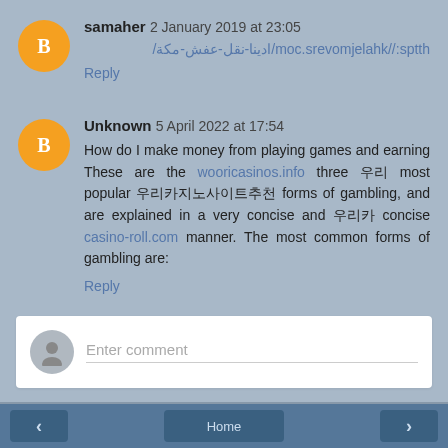samaher  2 January 2019 at 23:05
https://khalejmovers.com/ادينا-نقل-عفش-مكة/
Reply
Unknown  5 April 2022 at 17:54
How do I make money from playing games and earning These are the wooricasinos.info three 우리 most popular 우리카지노사이트추천 forms of gambling, and are explained in a very concise and 우리카 concise casino-roll.com manner. The most common forms of gambling are:
Reply
Enter comment
Home